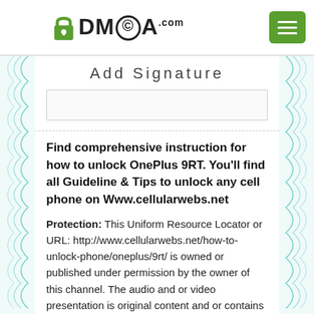DMCA.com
Add Signature
Find comprehensive instruction for how to unlock OnePlus 9RT. You'll find all Guideline & Tips to unlock any cell phone on Www.cellularwebs.net
Protection: This Uniform Resource Locator or URL: http://www.cellularwebs.net/how-to-unlock-phone/oneplus/9rt/ is owned or published under permission by the owner of this channel. The audio and or video presentation is original content and or contains original content